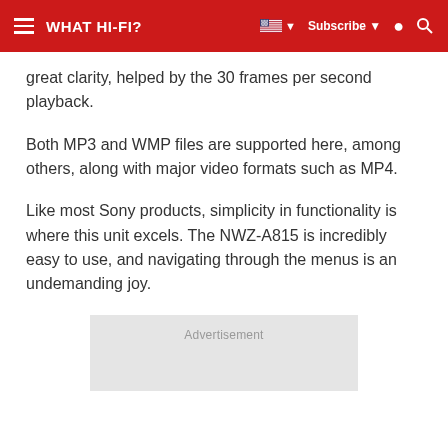WHAT HI-FI?
great clarity, helped by the 30 frames per second playback.
Both MP3 and WMP files are supported here, among others, along with major video formats such as MP4.
Like most Sony products, simplicity in functionality is where this unit excels. The NWZ-A815 is incredibly easy to use, and navigating through the menus is an undemanding joy.
[Figure (other): Advertisement placeholder box with light grey background and 'Advertisement' label]